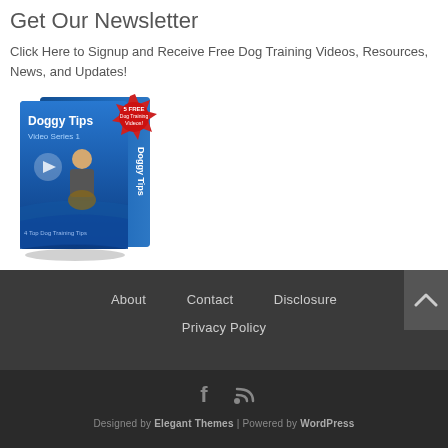Get Our Newsletter
Click Here to Signup and Receive Free Dog Training Videos, Resources, News, and Updates!
[Figure (photo): DVD box set showing 'Doggy Tips Video Series 1' with a person and dog, and a red starburst badge saying '5 FREE Dog Training Videos!']
About   Contact   Disclosure   Privacy Policy
Designed by Elegant Themes | Powered by WordPress